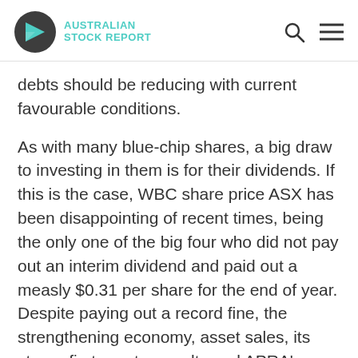AUSTRALIAN STOCK REPORT
debts should be reducing with current favourable conditions.
As with many blue-chip shares, a big draw to investing in them is for their dividends. If this is the case, WBC share price ASX has been disappointing of recent times, being the only one of the big four who did not pay out an interim dividend and paid out a measly $0.31 per share for the end of year. Despite paying out a record fine, the strengthening economy, asset sales, its strong first quarter results and APRA’s removal of the payout ratio leash should lead to Westpac ASX